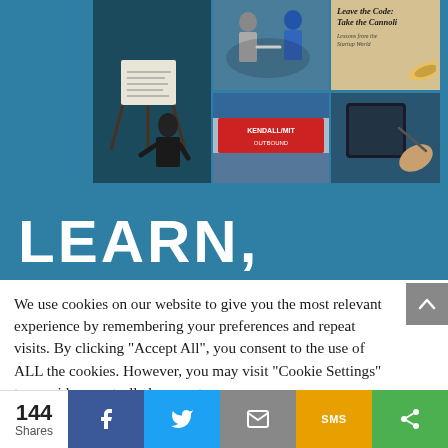[Figure (photo): Collage of photos: presenter at whiteboard, people networking, book cover 'Leave the Code Take the Cannoli', Kendall/MIT signs, person with tablet, all on teal background]
LEARN,
We use cookies on our website to give you the most relevant experience by remembering your preferences and repeat visits. By clicking "Accept All", you consent to the use of ALL the cookies. However, you may visit "Cookie Settings" to provide a controlled consent.
Cookie Settings   Accept All
144 Shares